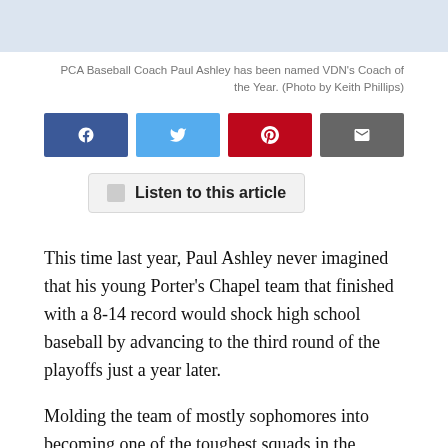PCA Baseball Coach Paul Ashley has been named VDN's Coach of the Year. (Photo by Keith Phillips)
[Figure (infographic): Social sharing buttons: Facebook (blue), Twitter (light blue), Pinterest (red), Email (gray)]
[Figure (infographic): Listen to this article button with speaker icon]
This time last year, Paul Ashley never imagined that his young Porter's Chapel team that finished with a 8-14 record would shock high school baseball by advancing to the third round of the playoffs just a year later.
Molding the team of mostly sophomores into becoming one of the toughest squads in the MAIS led Ashley to being selected as the Vicksburg Daily News 2022 Head Baseball Coach of the Year.
“The kids worked a lot in the offseason and in one year’s